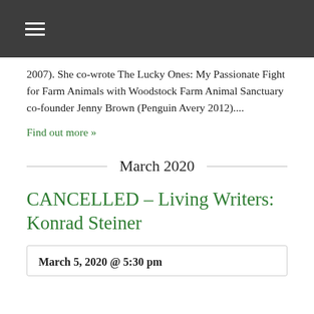≡
2007). She co-wrote The Lucky Ones: My Passionate Fight for Farm Animals with Woodstock Farm Animal Sanctuary co-founder Jenny Brown (Penguin Avery 2012)....
Find out more »
March 2020
CANCELLED – Living Writers: Konrad Steiner
March 5, 2020 @ 5:30 pm